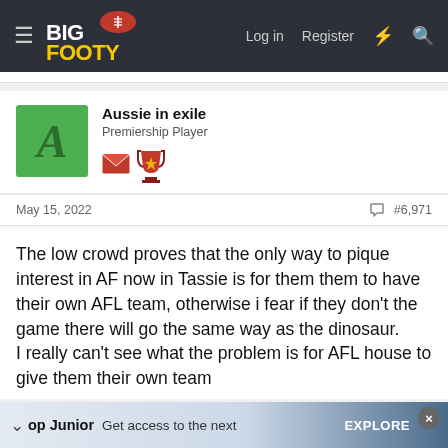BigFooty — Log in   Register
Aussie in exile
Premiership Player
May 15, 2022    #6,971
The low crowd proves that the only way to pique interest in AF now in Tassie is for them them to have their own AFL team, otherwise i fear if they don't the game there will go the same way as the dinosaur.
I really can't see what the problem is for AFL house to give them their own team
op Junior   Get access to the next   EXPLORE